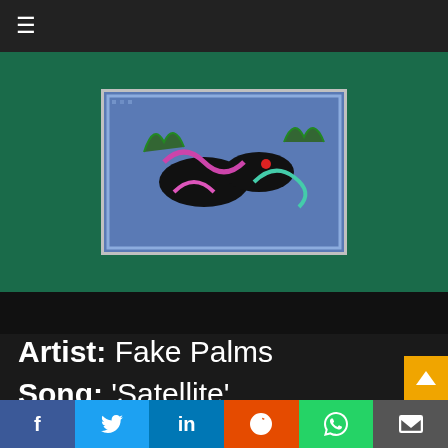☰ (hamburger menu)
[Figure (illustration): Album artwork for 'Lemons' by Fake Palms — a pixelated/low-res style image of animals or abstract shapes in blue, pink, teal and black on a teal/green background]
Artist: Fake Palms
Song: 'Satellite'
Album/EP: Lemons
Jaggy and disjointed guitar riffs pair with monotone talk-singing and driving, feverish dance
f  🐦  in  reddit  WhatsApp  ✉